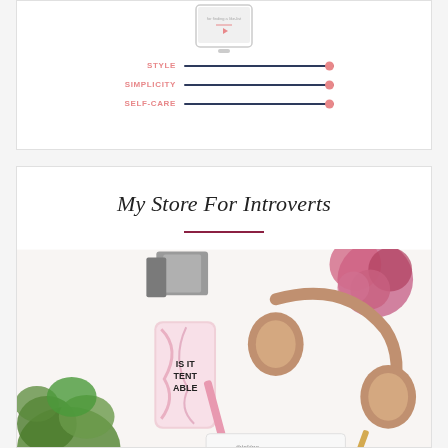[Figure (illustration): A tablet/e-reader device shown at top of card, with three labeled slider bars below it: STYLE, SIMPLICITY, SELF-CARE. Each slider is a dark navy horizontal bar with a pink circular thumb at the right end.]
My Store For Introverts
[Figure (photo): Flat lay photo of introvert lifestyle products including a phone case reading 'IS IT TENTABLE', rose gold headphones, a pink pen, a notebook with 'thinking PLANNING overthinking' text, green plants, pink flowers, and books on a white background.]